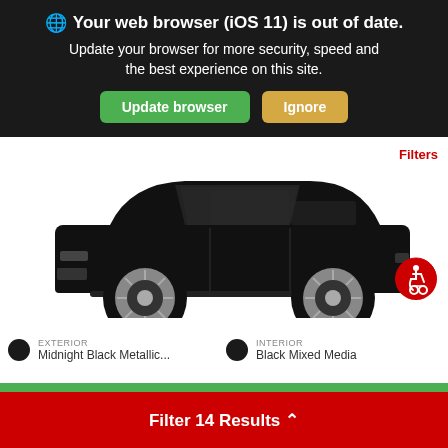🌐 Your web browser (iOS 11) is out of date. Update your browser for more security, speed and the best experience on this site.
Update browser
Ignore
Filters
[Figure (photo): Side view of a black Toyota Highlander SUV on white background]
[Figure (illustration): Red circular accessibility/wheelchair icon]
EXTERIOR
Midnight Black Metallic...
INTERIOR
Black Mixed Media
IN TRANSIT VEHICLE
NEW 2022
TOYOTA HIGHLANDER XSE AWD V6
Filter 14 Results ∧